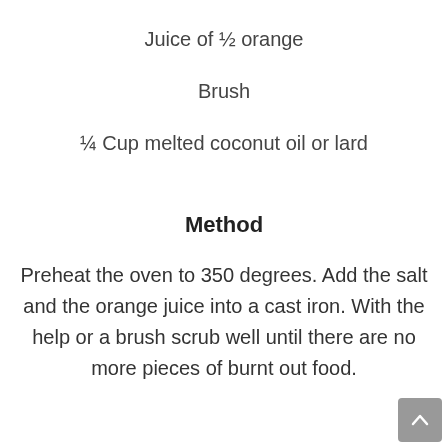Juice of ½ orange
Brush
¼ Cup melted coconut oil or lard
Method
Preheat the oven to 350 degrees. Add the salt and the orange juice into a cast iron. With the help or a brush scrub well until there are no more pieces of burnt out food.